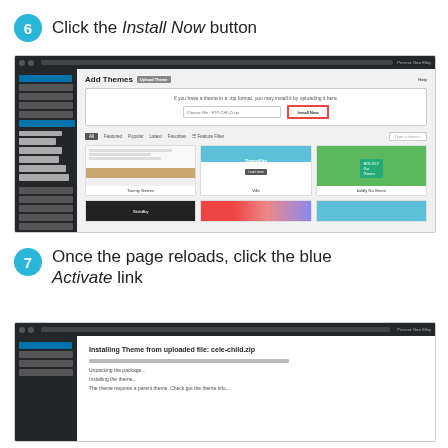6 Click the Install Now button
[Figure (screenshot): WordPress admin panel showing Add Themes page with upload zip option and Install Now button highlighted with red border, and theme grid below]
7 Once the page reloads, click the blue Activate link
[Figure (screenshot): WordPress admin panel showing Installing Theme from uploaded file: cele-child.zip with progress lines below]